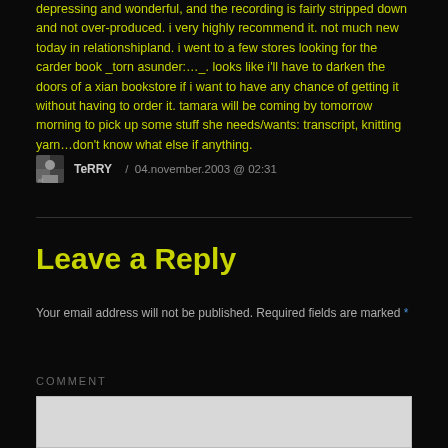depressing and wonderful, and the recording is fairly stripped down and not over-produced. i very highly recommend it. not much new today in relationshipland. i went to a few stores looking for the carder book _torn asunder:…_. looks like i'll have to darken the doors of a xian bookstore if i want to have any chance of getting it without having to order it. tamara will be coming by tomorrow morning to pick up some stuff she needs/wants: transcript, knitting yarn…don't know what else if anything.
TeRRY  /  04.november.2003 @ 02:31
Leave a Reply
Your email address will not be published. Required fields are marked *
COMMENT